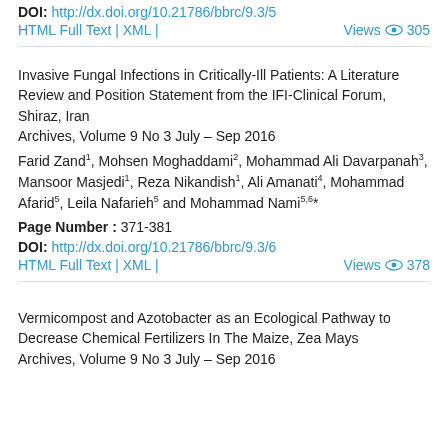DOI: http://dx.doi.org/10.21786/bbrc/9.3/5
HTML Full Text | XML | Views 305
Invasive Fungal Infections in Critically-Ill Patients: A Literature Review and Position Statement from the IFI-Clinical Forum, Shiraz, Iran
Archives, Volume 9 No 3 July – Sep 2016
Farid Zand1, Mohsen Moghaddami2, Mohammad Ali Davarpanah3, Mansoor Masjedi1, Reza Nikandish1, Ali Amanati4, Mohammad Afarid5, Leila Nafarieh5 and Mohammad Nami5,6*
Page Number : 371-381
DOI: http://dx.doi.org/10.21786/bbrc/9.3/6
HTML Full Text | XML | Views 378
Vermicompost and Azotobacter as an Ecological Pathway to Decrease Chemical Fertilizers In The Maize, Zea Mays
Archives, Volume 9 No 3 July – Sep 2016